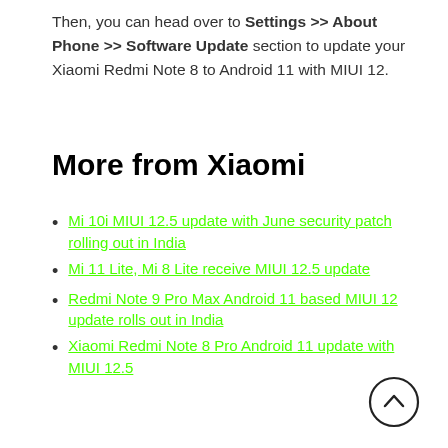Then, you can head over to Settings >> About Phone >> Software Update section to update your Xiaomi Redmi Note 8 to Android 11 with MIUI 12.
More from Xiaomi
Mi 10i MIUI 12.5 update with June security patch rolling out in India
Mi 11 Lite, Mi 8 Lite receive MIUI 12.5 update
Redmi Note 9 Pro Max Android 11 based MIUI 12 update rolls out in India
Xiaomi Redmi Note 8 Pro Android 11 update with MIUI 12.5